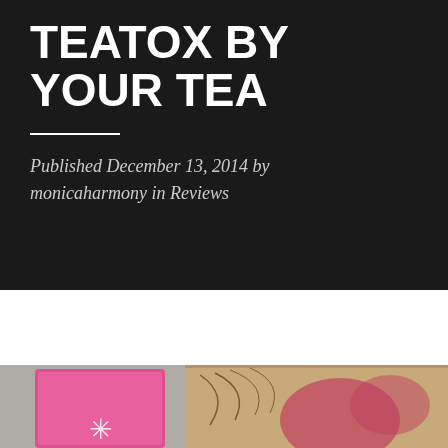TEATOX BY YOUR TEA
Published December 13, 2014 by monicaharmony in Reviews
[Figure (photo): Photo of tea product packaging — a pink box and a tan/kraft colored box with floral illustration, placed on a gray surface]